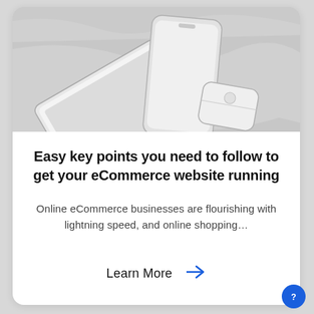[Figure (photo): Grayscale photo of a phone, tablet/laptop, and earbuds case on a white wrinkled fabric background]
Easy key points you need to follow to get your eCommerce website running
Online eCommerce businesses are flourishing with lightning speed, and online shopping...
Learn More →